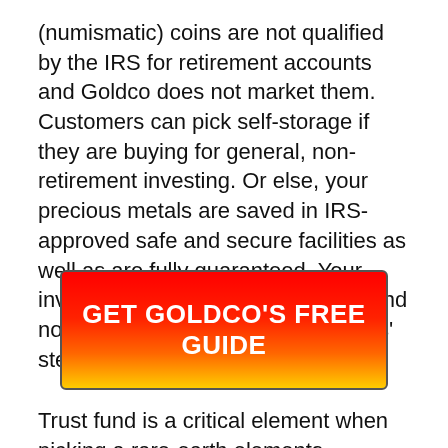(numismatic) coins are not qualified by the IRS for retirement accounts and Goldco does not market them. Customers can pick self-storage if they are buying for general, non-retirement investing. Or else, your precious metals are saved in IRS-approved safe and secure facilities as well as are fully guaranteed. Your investment is kept in its own vault and not commingled with other investors' steels.
[Figure (other): Red to yellow gradient call-to-action button with white bold text reading 'GET GOLDCO'S FREE GUIDE']
Trust fund is a critical element when picking a rare-earth elements provider. So it's worth